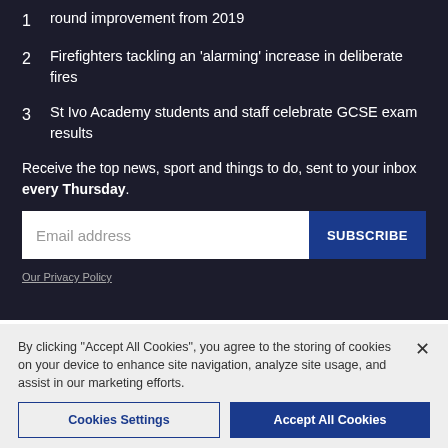1  round improvement from 2019
2  Firefighters tackling an 'alarming' increase in deliberate fires
3  St Ivo Academy students and staff celebrate GCSE exam results
Receive the top news, sport and things to do, sent to your inbox every Thursday.
Email address  SUBSCRIBE
Our Privacy Policy
By clicking "Accept All Cookies", you agree to the storing of cookies on your device to enhance site navigation, analyze site usage, and assist in our marketing efforts.
Cookies Settings  Accept All Cookies